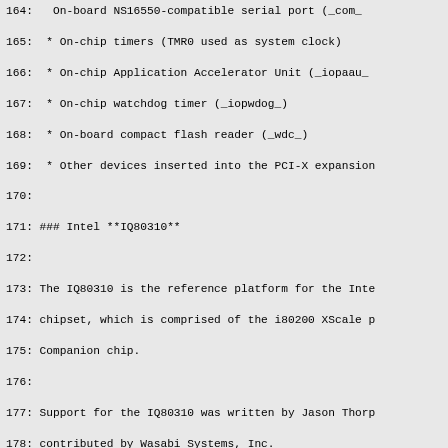164:   On-board NS16550-compatible serial port (_com_
165:  * On-chip timers (TMR0 used as system clock)
166:  * On-chip Application Accelerator Unit (_iopaau_
167:  * On-chip watchdog timer (_iopwdog_)
168:  * On-board compact flash reader (_wdc_)
169:  * Other devices inserted into the PCI-X expansion
170:
171: ### Intel **IQ80310**
172:
173: The IQ80310 is the reference platform for the Inte
174: chipset, which is comprised of the i80200 XScale p
175: Companion chip.
176:
177: Support for the IQ80310 was written by Jason Thorp
178: contributed by Wasabi Systems, Inc.
179:
180:  * On-board Intel i82559 Ethernet on the PCI bus
181:  * On-board timer in the CPLD (used as system clo
182:  * On-board NS16550-compatible serial ports (_com_
183:  * Other devices inserted into the PCI expansion s
184:
185: ### Intel **IQ80321**
186:
187: The IQ80321 is the reference platform for the Inte
188: (i80321 XScale processor).
189:
190: Support for the IQ80321 was written by Jason Thorp
191: Systems, Inc.
192:
193:  * On-board Intel i82544EI Gigabit Ethernet on the
194:  * On-board NS16550-compatible serial port (_com_